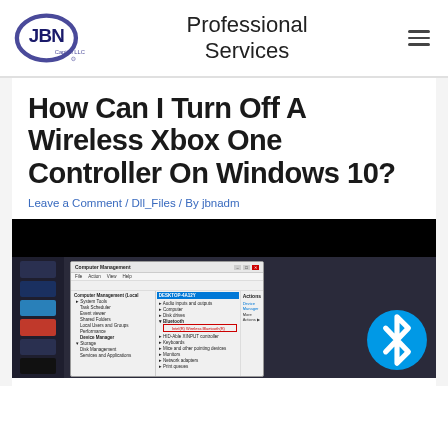JBN Capital LLC — Professional Services
How Can I Turn Off A Wireless Xbox One Controller On Windows 10?
Leave a Comment / Dll_Files / By jbnadm
[Figure (screenshot): Screenshot of Windows 10 Computer Management window showing Device Manager with Bluetooth section expanded, displaying Intel(R) Wireless Bluetooth(R) entry. A Bluetooth logo is overlaid on the right side of the image.]